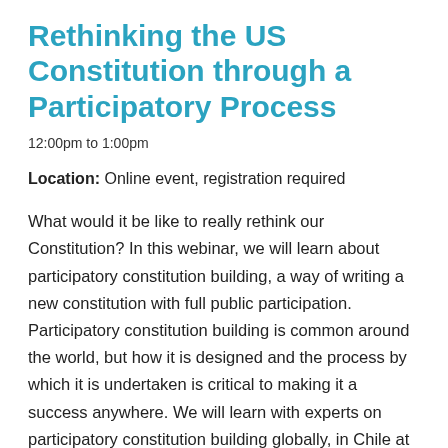Rethinking the US Constitution through a Participatory Process
12:00pm to 1:00pm
Location: Online event, registration required
What would it be like to really rethink our Constitution? In this webinar, we will learn about participatory constitution building, a way of writing a new constitution with full public participation. Participatory constitution building is common around the world, but how it is designed and the process by which it is undertaken is critical to making it a success anywhere. We will learn with experts on participatory constitution building globally, in Chile at this moment, and among tribal governments. What are the practices we might think